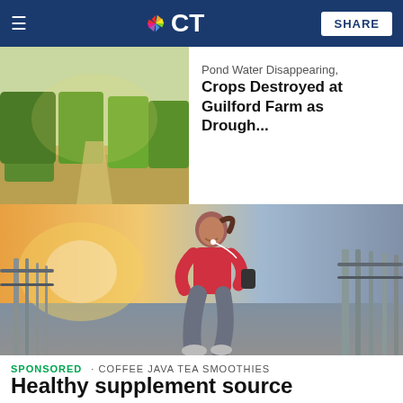NBC CT | SHARE
[Figure (photo): Farm field with crops and trees under bright sunlight]
Pond Water Disappearing, Crops Destroyed at Guilford Farm as Drough...
[Figure (photo): Woman in a red shirt jogging on a bridge with earphones, smiling]
SPONSORED · COFFEE JAVA TEA SMOOTHIES
Healthy supplement source